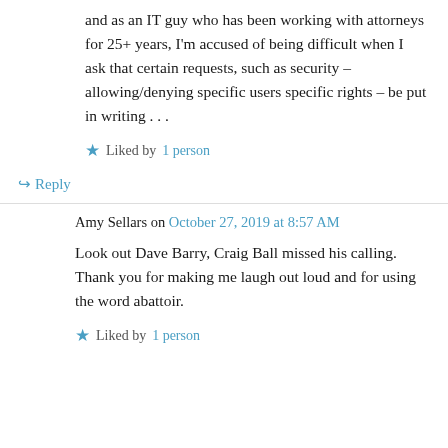and as an IT guy who has been working with attorneys for 25+ years, I'm accused of being difficult when I ask that certain requests, such as security – allowing/denying specific users specific rights – be put in writing . . .
Liked by 1 person
↳ Reply
Amy Sellars on October 27, 2019 at 8:57 AM
Look out Dave Barry, Craig Ball missed his calling. Thank you for making me laugh out loud and for using the word abattoir.
Liked by 1 person